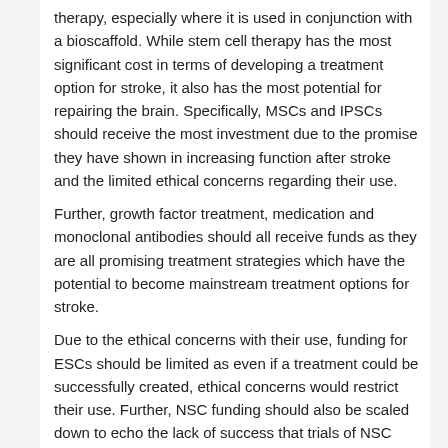therapy, especially where it is used in conjunction with a bioscaffold. While stem cell therapy has the most significant cost in terms of developing a treatment option for stroke, it also has the most potential for repairing the brain. Specifically, MSCs and IPSCs should receive the most investment due to the promise they have shown in increasing function after stroke and the limited ethical concerns regarding their use.
Further, growth factor treatment, medication and monoclonal antibodies should all receive funds as they are all promising treatment strategies which have the potential to become mainstream treatment options for stroke.
Due to the ethical concerns with their use, funding for ESCs should be limited as even if a treatment could be successfully created, ethical concerns would restrict their use. Further, NSC funding should also be scaled down to echo the lack of success that trials of NSC treatment have had to date.